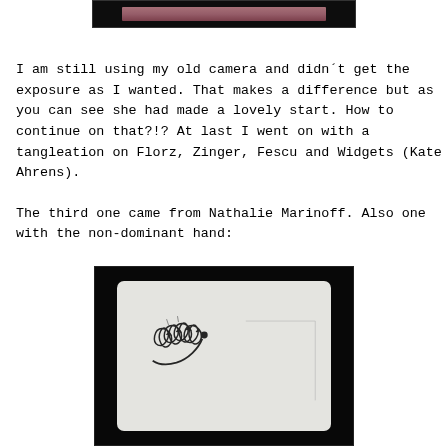[Figure (photo): Top portion of a photograph with dark background showing pink/rose colored artwork or drawing, partially cropped at top of page]
I am still using my old camera and didn´t get the exposure as I wanted. That makes a difference but as you can see she had made a lovely start. How to continue on that?!? At last I went on with a tangleation on Florz, Zinger, Fescu and Widgets (Kate Ahrens).
The third one came from Nathalie Marinoff. Also one with the non-dominant hand:
[Figure (photo): Photograph with black background showing a white paper/tile with a hand-drawn tangled pattern — looping cursive-like strokes forming a small cluster in the upper-left area, and faint pencil lines extending to the right side of the paper]